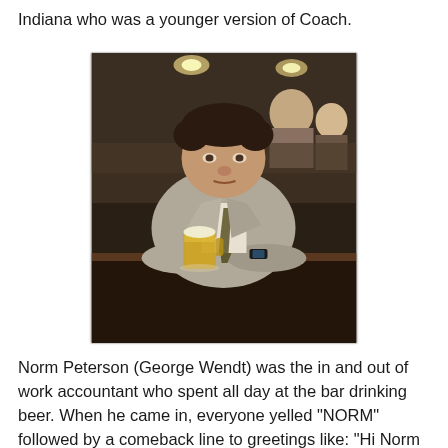Indiana who was a younger version of Coach.
[Figure (photo): Norm Peterson (George Wendt) sitting at a bar, leaning on the counter with a mug of beer in front of him, wearing a grey suit and patterned tie.]
Norm Peterson (George Wendt) was the in and out of work accountant who spent all day at the bar drinking beer. When he came in, everyone yelled "NORM" followed by a comeback line to greetings like: "Hi Norm ... What's going